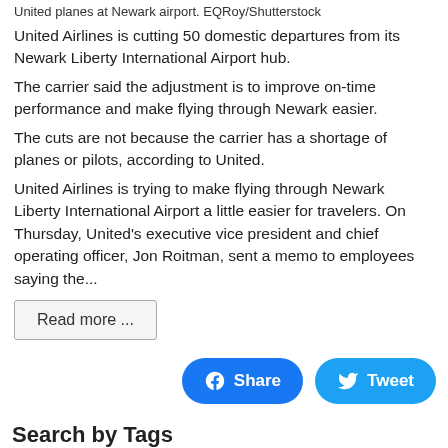United planes at Newark airport. EQRoy/Shutterstock
United Airlines is cutting 50 domestic departures from its Newark Liberty International Airport hub.
The carrier said the adjustment is to improve on-time performance and make flying through Newark easier.
The cuts are not because the carrier has a shortage of planes or pilots, according to United.
United Airlines is trying to make flying through Newark Liberty International Airport a little easier for travelers. On Thursday, United's executive vice president and chief operating officer, Jon Roitman, sent a memo to employees saying the...
Read more ...
[Figure (other): Facebook Share button and Twitter Tweet button]
Search by Tags
Planes
Plane
Traveling